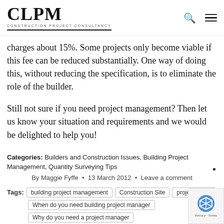CLPM CONSTRUCTION PROJECT CONSULTANCY
charges about 15%. Some projects only become viable if this fee can be reduced substantially. One way of doing this, without reducing the specification, is to eliminate the role of the builder.
Still not sure if you need project management? Then let us know your situation and requirements and we would be delighted to help you!
Categories: Builders and Construction Issues, Building Project Management, Quantity Surveying Tips
By Maggie Fyffe • 13 March 2012 • Leave a comment
Tags: building project management  Construction Site  project mana…  When do you need building project manager  Why do you need a project manager